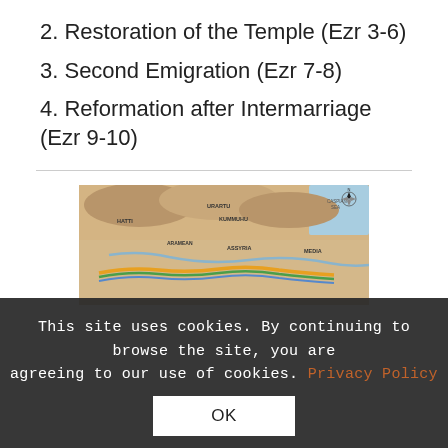2. Restoration of the Temple (Ezr 3-6)
3. Second Emigration (Ezr 7-8)
4. Reformation after Intermarriage (Ezr 9-10)
[Figure (map): Ancient Near East map showing regions including HATTI, URARTU, KUMMUHU, ARAMEAN, ASSYRIA, MEDIA, and CASPIAN SEA with colored route lines overlaid]
This site uses cookies. By continuing to browse the site, you are agreeing to our use of cookies. Privacy Policy
OK